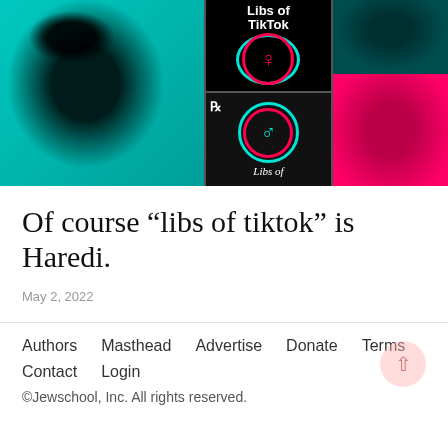[Figure (photo): Collage image showing media personalities and 'Libs of TikTok' logo in teal, black, pink, and red color scheme. Left: teal-tinted male face. Center top: Libs of TikTok logo with female gender symbol. Center bottom: Libs of logo with male gender symbol and Rx icon. Right top: dark teal tinted male face. Right bottom: pink/magenta tinted female face.]
Of course “libs of tiktok” is Haredi.
May 2, 2022
Authors   Masthead   Advertise   Donate   Terms
Contact   Login
©Jewschool, Inc. All rights reserved.